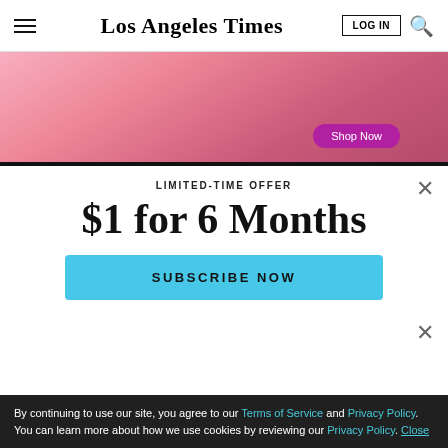Los Angeles Times
[Figure (photo): Pink-toned advertisement banner showing a person with a pink sweater and a 'Shop Now' button]
LIMITED-TIME OFFER
$1 for 6 Months
SUBSCRIBE NOW
By continuing to use our site, you agree to our Terms of Service and Privacy Policy. You can learn more about how we use cookies by reviewing our Privacy Policy. Close